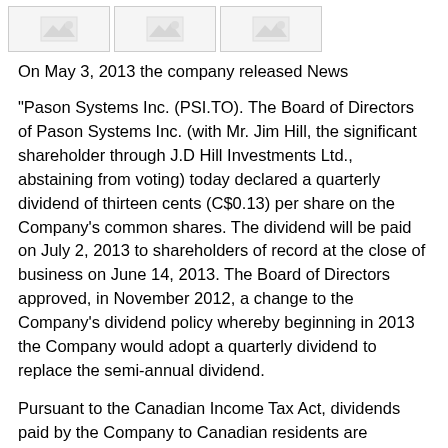[Figure (other): Three small placeholder images in a row at the top of the page]
On May 3, 2013 the company released News
"Pason Systems Inc. (PSI.TO). The Board of Directors of Pason Systems Inc. (with Mr. Jim Hill, the significant shareholder through J.D Hill Investments Ltd., abstaining from voting) today declared a quarterly dividend of thirteen cents (C$0.13) per share on the Company's common shares. The dividend will be paid on July 2, 2013 to shareholders of record at the close of business on June 14, 2013. The Board of Directors approved, in November 2012, a change to the Company's dividend policy whereby beginning in 2013 the Company would adopt a quarterly dividend to replace the semi-annual dividend.
Pursuant to the Canadian Income Tax Act, dividends paid by the Company to Canadian residents are considered to be “eligible” dividends.
Pason Systems Inc. Pason Systems Inc. is a leading provider of instrumentation systems to land-based and offshore drilling rigs worldwide. The company’s rental